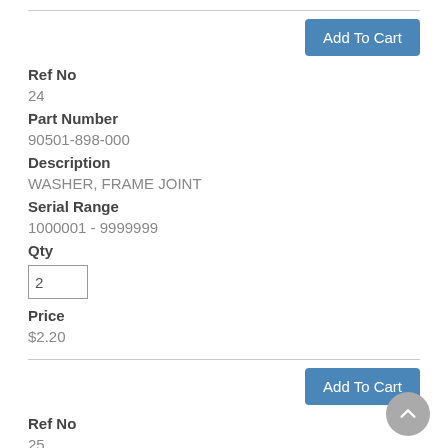Add To Cart
Ref No
24
Part Number
90501-898-000
Description
WASHER, FRAME JOINT
Serial Range
1000001 - 9999999
Qty
2
Price
$2.20
Add To Cart
Ref No
25
Part Number